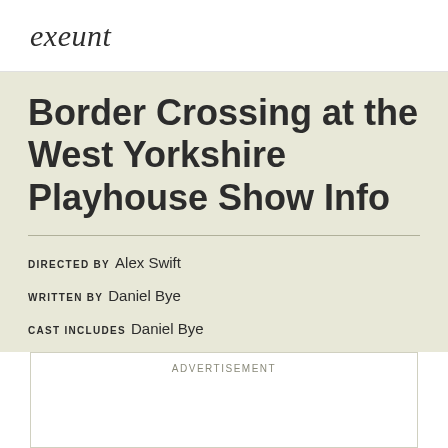exeunt
Border Crossing at the West Yorkshire Playhouse Show Info
DIRECTED BY Alex Swift
WRITTEN BY Daniel Bye
CAST INCLUDES Daniel Bye
ADVERTISEMENT